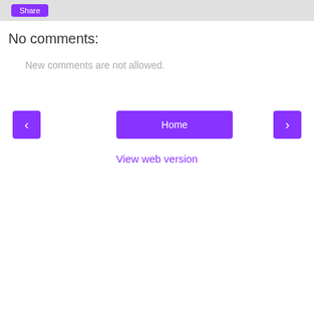[Figure (screenshot): Top gray bar with a purple Share button in the upper left corner]
No comments:
New comments are not allowed.
[Figure (infographic): Navigation row with three purple buttons: left arrow, Home (center), right arrow]
View web version